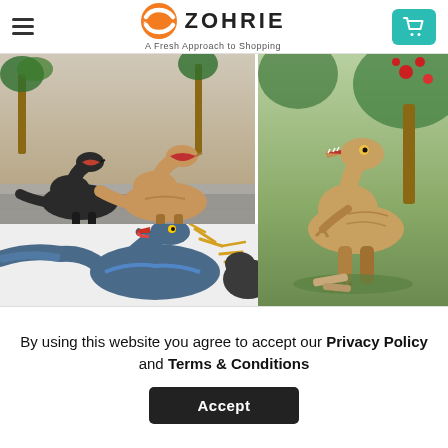ZOHRIE - A Fresh Approach to Shopping
[Figure (photo): Two raptor dinosaur action figures posed on pavement outdoors with palm trees in background]
[Figure (photo): Single tan raptor dinosaur action figure posed on moss/grass with red flowers in background]
[Figure (photo): Blue raptor dinosaur action figure with open mouth, impact lines in gold, and partial view of dark dinosaur figure, on white background]
By using this website you agree to accept our Privacy Policy and Terms & Conditions
Accept